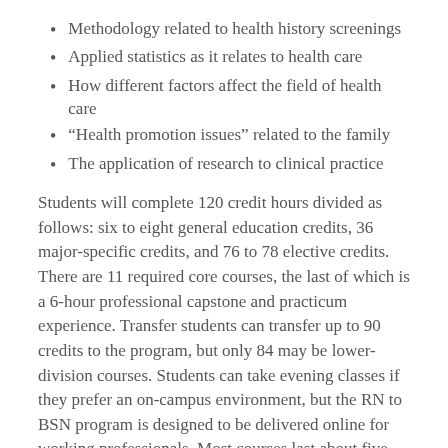Methodology related to health history screenings
Applied statistics as it relates to health care
How different factors affect the field of health care
“Health promotion issues” related to the family
The application of research to clinical practice
Students will complete 120 credit hours divided as follows: six to eight general education credits, 36 major-specific credits, and 76 to 78 elective credits. There are 11 required core courses, the last of which is a 6-hour professional capstone and practicum experience. Transfer students can transfer up to 90 credits to the program, but only 84 may be lower-division courses. Students can take evening classes if they prefer an on-campus environment, but the RN to BSN program is designed to be delivered online for working professionals. Most courses last about five weeks, but there are exceptions for certain core requirements, including the capstone and general courses on English and math.
In terms of student experience, the online RN to BSN program allows candidates to study a broad range of courses